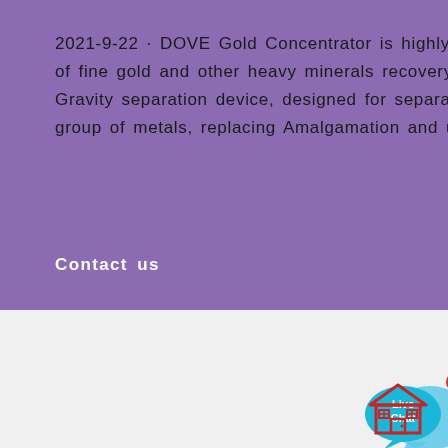2021-9-22 · DOVE Gold Concentrator is highly efficient gold separator, designed for highest ratio of fine gold and other heavy minerals recovery. DOVE Centrifugal Gold Concentrator is a type of Gravity separation device, designed for separation and recovery of free Gold, Silver and Platinum group of metals, replacing Amalgamation and use of Mercu. DOVE Gold Concentrator …
Contact us
[Figure (illustration): Live Chat button with speech bubble icons in cyan/blue colors with a close (x) button]
[Figure (illustration): Small house/home icon in red outline style at bottom right corner]